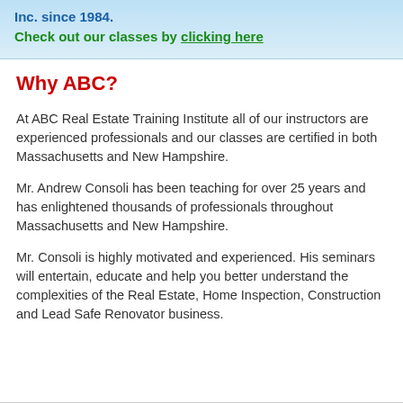Inc. since 1984.
Check out our classes by clicking here
Why ABC?
At ABC Real Estate Training Institute all of our instructors are experienced professionals and our classes are certified in both Massachusetts and New Hampshire.
Mr. Andrew Consoli has been teaching for over 25 years and has enlightened thousands of professionals throughout Massachusetts and New Hampshire.
Mr. Consoli is highly motivated and experienced. His seminars will entertain, educate and help you better understand the complexities of the Real Estate, Home Inspection, Construction and Lead Safe Renovator business.